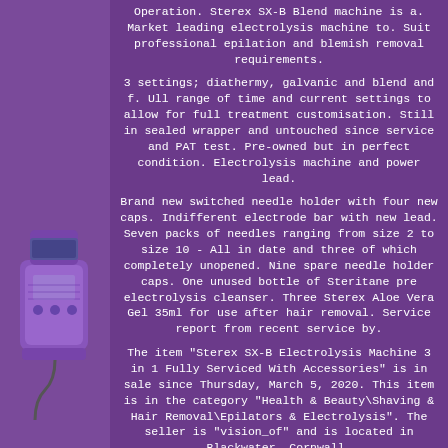[Figure (photo): Purple electrolysis machine device shown on the left side strip of the page]
Operation. Sterex SX-B Blend machine is a. Market leading electrolysis machine to. Suit professional epilation and blemish removal requirements.
3 settings; diathermy, galvanic and blend and f. Ull range of time and current settings to allow for full treatment customisation. Still in sealed wrapper and untouched since service and PAT test. Pre-owned but in perfect condition. Electrolysis machine and power lead.
Brand new switched needle holder with four new caps. Indifferent electrode bar with new lead. Seven packs of needles ranging from size 2 to size 10 - All in date and three of which completely unopened. Nine spare needle holder caps. One unused bottle of Steritane pre electrolysis cleanser. Three Sterex Aloe Vera Gel 35ml for use after hair removal. Service report from recent service by.
The item "Sterex SX-B Electrolysis Machine 3 in 1 Fully Serviced With Accessories" is in sale since Thursday, March 5, 2020. This item is in the category "Health & Beauty\Shaving & Hair Removal\Epilators & Electrolysis". The seller is "vision_of" and is located in Blackwater, Cornwall.
This item can be shipped to United Kingdom.
Modified Item: No Type: Electrolysis Device Main